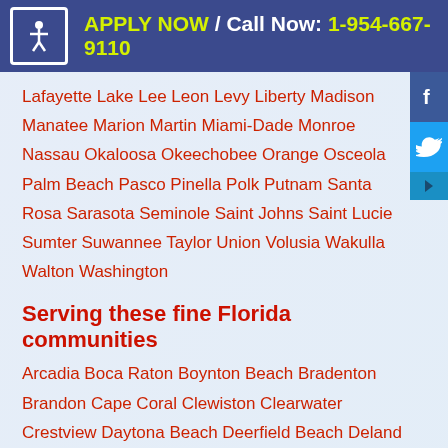APPLY NOW / Call Now: 1-954-667-9110
Lafayette Lake Lee Leon Levy Liberty Madison Manatee Marion Martin Miami-Dade Monroe Nassau Okaloosa Okeechobee Orange Osceola Palm Beach Pasco Pinella Polk Putnam Santa Rosa Sarasota Seminole Saint Johns Saint Lucie Sumter Suwannee Taylor Union Volusia Wakulla Walton Washington
Serving these fine Florida communities
Arcadia Boca Raton Boynton Beach Bradenton Brandon Cape Coral Clewiston Clearwater Crestview Daytona Beach Deerfield Beach Deland Delray Beach Deltona Destin Englewood Fort Pierce Ft. Lauderdale Ft. Myers Ft. Walton Beach Gainesville Hollywood Homosassa Springs Jacksonville Key West Kissimmee